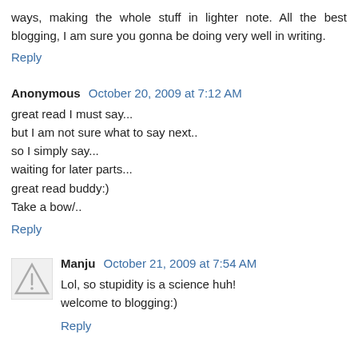ways, making the whole stuff in lighter note. All the best blogging, I am sure you gonna be doing very well in writing.
Reply
Anonymous October 20, 2009 at 7:12 AM
great read I must say...
but I am not sure what to say next..
so I simply say...
waiting for later parts...
great read buddy:)
Take a bow/..
Reply
Manju October 21, 2009 at 7:54 AM
Lol, so stupidity is a science huh!
welcome to blogging:)
Reply